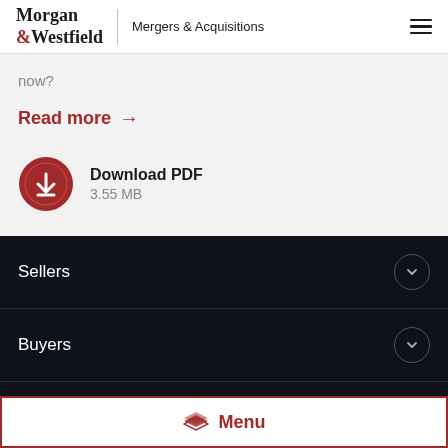Morgan & Westfield | Mergers & Acquisitions
now?
Read more →
Download PDF
3.55 MB
Sellers
Buyers
Resources
Menu